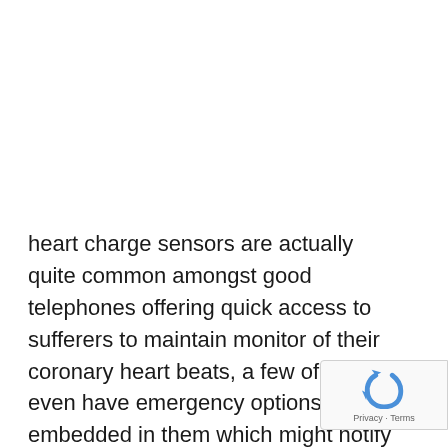heart charge sensors are actually quite common amongst good telephones offering quick access to sufferers to maintain monitor of their coronary heart beats, a few of them even have emergency options embedded in them which might notify private contacts in lieu of an unlucky state of affairs. As it's typically stated warning is healthier than remedy , cell apps are being developed